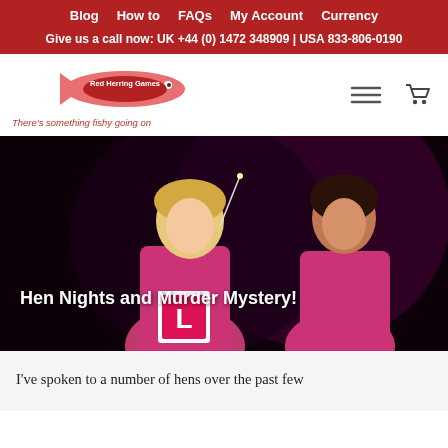Blog | How to | FAQs | My Account | Currency
Give us a call now: UK +44 (0) 1472 348909 | USA 833-806-0190
[Figure (logo): Red Herring Games logo - fish shape with text 'Red Herring Games' and tagline 'There's something fishy going on']
[Figure (photo): Two women in pink outfits smiling at a party or club event, one holding sparklers and wearing an L-plate]
Hen Nights and Murder Mystery!
I've spoken to a number of hens over the past few